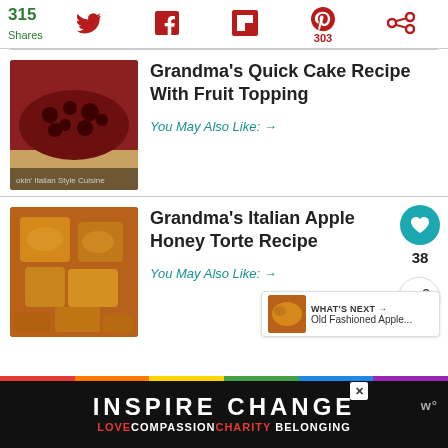315 Shares — social share bar with Twitter, Facebook, Flipboard, Pinterest (303), and another icon
[Figure (photo): Photo of a fruit-topped cake with dark berry topping and yellow cake base, labeled 'okin' Italian Style Cuisine']
Grandma's Quick Cake Recipe With Fruit Topping
You May Also Like: →
[Figure (photo): Photo of golden-brown apple honey torte, caramelized apple pieces]
Grandma's Italian Apple Honey Torte Recipe
You May Also Like: →
WHAT'S NEXT → Old Fashioned Apple...
INSPIRE CHANGE
LOVE COMPASSION CHARITY BELONGING